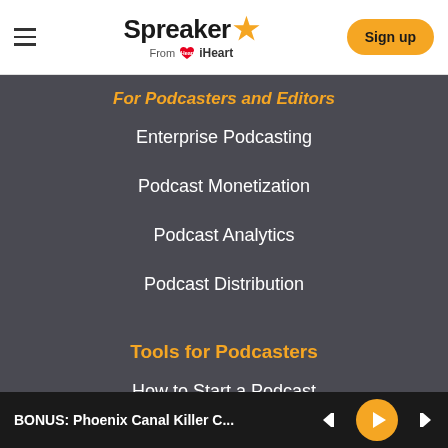Spreaker From iHeart | Sign up
For Podcasters and Editors
Enterprise Podcasting
Podcast Monetization
Podcast Analytics
Podcast Distribution
Tools for Podcasters
How to Start a Podcast
Spreaker Studio App
BONUS: Phoenix Canal Killer C...